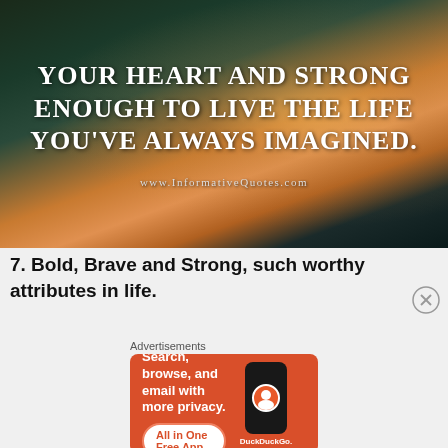[Figure (photo): Motivational quote image over a sunset ocean background with dark cliffs. Text reads: YOUR HEART AND STRONG ENOUGH TO LIVE THE LIFE YOU'VE ALWAYS IMAGINED. www.InformativeQuotes.com]
7. Bold, Brave and Strong, such worthy attributes in life.
Advertisements
[Figure (screenshot): DuckDuckGo advertisement banner. Orange background with white text: Search, browse, and email with more privacy. All in One Free App. Shows a phone with DuckDuckGo logo.]